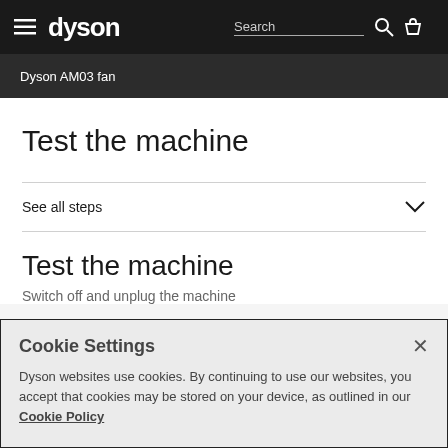dyson — Search (navigation bar)
Dyson AM03 fan
Test the machine
See all steps
Test the machine
Switch off and unplug the machine
Cookie Settings
Dyson websites use cookies. By continuing to use our websites, you accept that cookies may be stored on your device, as outlined in our Cookie Policy